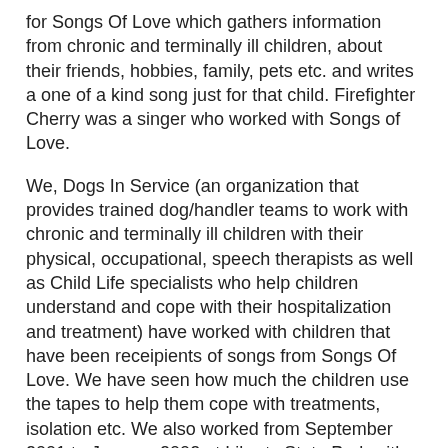for Songs Of Love which gathers information from chronic and terminally ill children, about their friends, hobbies, family, pets etc. and writes a one of a kind song just for that child. Firefighter Cherry was a singer who worked with Songs of Love.
We, Dogs In Service (an organization that provides trained dog/handler teams to work with chronic and terminally ill children with their physical, occupational, speech therapists as well as Child Life specialists who help children understand and cope with their hospitalization and treatment) have worked with children that have been receipients of songs from Songs Of Love. We have seen how much the children use the tapes to help them cope with treatments, isolation etc. We also worked from September 2001 to January 2002 at Liberty State Park with some of the victim's families, friends as well as first responders.
On a personal level, I want to continue to honor those first responders, both the ones that died and the ones who tried to help. I thought the bracelet would do just that. Thank you Firefight Cherry - and everyone else who tried to help.